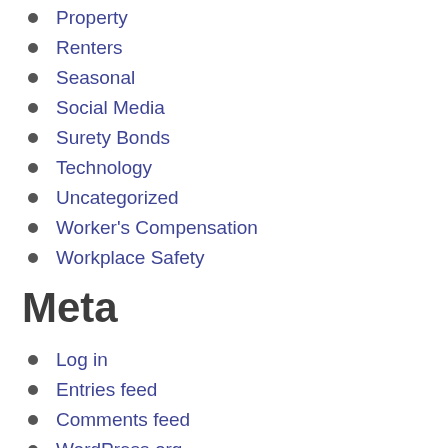Property
Renters
Seasonal
Social Media
Surety Bonds
Technology
Uncategorized
Worker's Compensation
Workplace Safety
Meta
Log in
Entries feed
Comments feed
WordPress.org
Footer Column